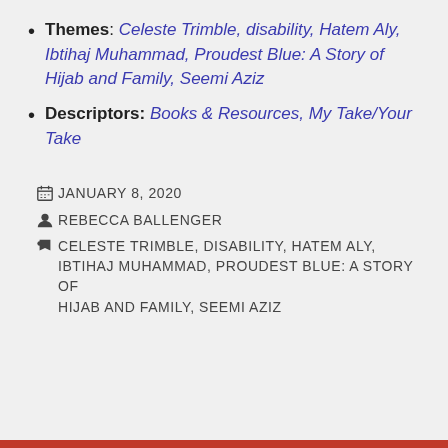Themes: Celeste Trimble, disability, Hatem Aly, Ibtihaj Muhammad, Proudest Blue: A Story of Hijab and Family, Seemi Aziz
Descriptors: Books & Resources, My Take/Your Take
JANUARY 8, 2020
REBECCA BALLENGER
CELESTE TRIMBLE, DISABILITY, HATEM ALY, IBTIHAJ MUHAMMAD, PROUDEST BLUE: A STORY OF HIJAB AND FAMILY, SEEMI AZIZ